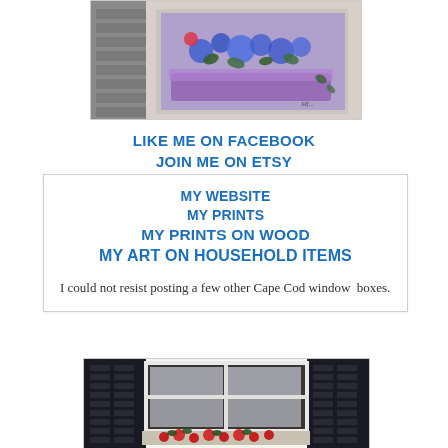[Figure (photo): Partial view of a painting showing a window box with blue and purple flowers against a light purple and grey background, with a white frame border visible.]
LIKE ME ON FACEBOOK
JOIN ME ON ETSY
MY WEBSITE
MY PRINTS
MY PRINTS ON WOOD
MY ART ON HOUSEHOLD ITEMS
I could not resist posting a few other Cape Cod window  boxes.
[Figure (photo): Photo of a Cape Cod window with dark shutters on each side, white window frame with six panes, and a window box with red roses at the bottom.]